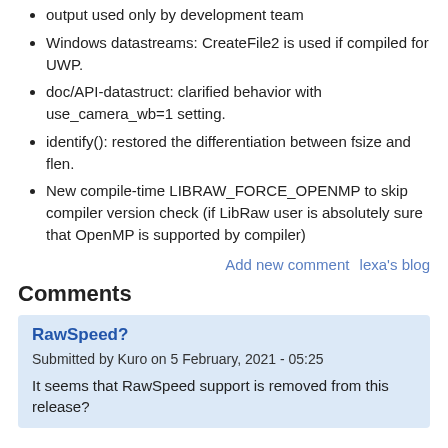output used only by development team
Windows datastreams: CreateFile2 is used if compiled for UWP.
doc/API-datastruct: clarified behavior with use_camera_wb=1 setting.
identify(): restored the differentiation between fsize and flen.
New compile-time LIBRAW_FORCE_OPENMP to skip compiler version check (if LibRaw user is absolutely sure that OpenMP is supported by compiler)
Add new comment   lexa's blog
Comments
RawSpeed?
Submitted by Kuro on 5 February, 2021 - 05:25
It seems that RawSpeed support is removed from this release?